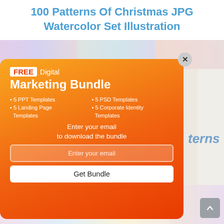100 Patterns Of Christmas JPG Watercolor Set Illustration
[Figure (screenshot): Screenshot of a webpage showing Christmas watercolor pattern illustrations with an orange popup modal for a FREE Digital Marketing Bundle. The popup contains an email capture form with bullet points listing 5 PPT Templates, 5 Landing Page Templates, 5 PSD Templates, 5 Corporate Identity Templates, an email input field, and a Get Bundle button. A close (X) button appears at the top right of the popup. A gray scroll-to-top button appears at the bottom right.]